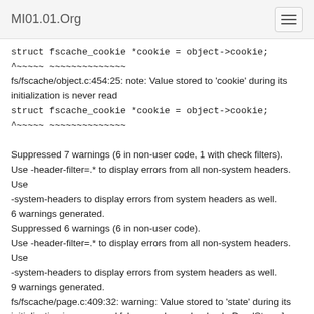MI01.01.Org
struct fscache_cookie *cookie = object->cookie;
^~~~~~ ~~~~~~~~~~~~~~
fs/fscache/object.c:454:25: note: Value stored to 'cookie' during its initialization is never read
struct fscache_cookie *cookie = object->cookie;
^~~~~~ ~~~~~~~~~~~~~~
Suppressed 7 warnings (6 in non-user code, 1 with check filters).
Use -header-filter=.* to display errors from all non-system headers. Use
-system-headers to display errors from system headers as well.
6 warnings generated.
Suppressed 6 warnings (6 in non-user code).
Use -header-filter=.* to display errors from all non-system headers. Use
-system-headers to display errors from system headers as well.
9 warnings generated.
fs/fscache/page.c:409:32: warning: Value stored to 'state' during its initialization is never read [clang-analyzer-deadcode.DeadStores]
enum fscache_operation_state state = op->state;
^